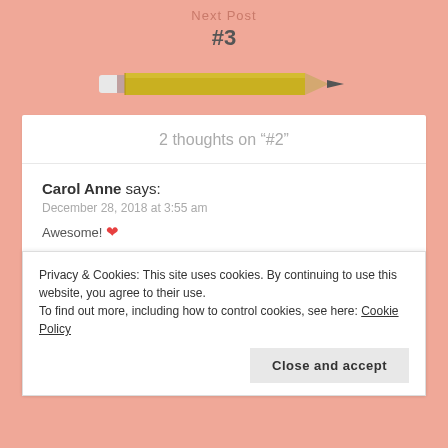Next Post
#3
[Figure (illustration): Yellow pencil illustration pointing right]
2 thoughts on “#2”
Carol Anne says:
December 28, 2018 at 3:55 am
Awesome! ❤
Privacy & Cookies: This site uses cookies. By continuing to use this website, you agree to their use.
To find out more, including how to control cookies, see here: Cookie Policy